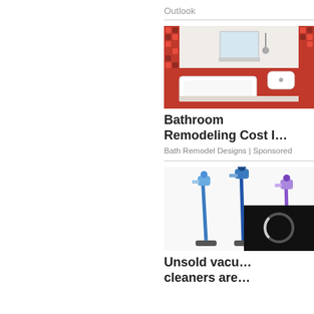Outlook
[Figure (photo): Bathroom with red and white tiles, bathtub, sink, and mirror]
Bathroom Remodeling Cost I...
Bath Remodel Designs | Sponsored
[Figure (photo): Three upright cordless stick vacuum cleaners in blue/silver]
Unsold vacu... cleaners are...